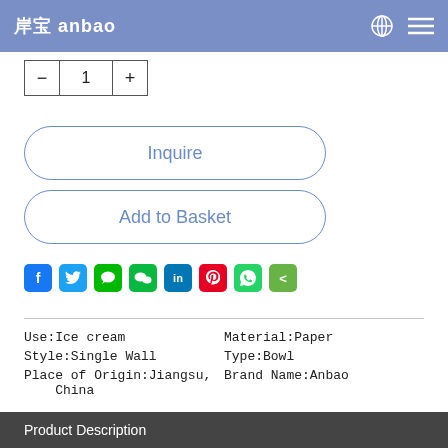岸宝 anbao
[Figure (screenshot): Quantity selector with minus, 1, plus buttons]
Inquire
Add to Basket
[Figure (infographic): Social media share icons: Facebook, Twitter, Line, WeChat, LinkedIn, Pinterest, WhatsApp, ShareThis]
| Use:Ice cream | Material:Paper |
| Style:Single Wall | Type:Bowl |
| Place of Origin:Jiangsu, China | Brand Name:Anbao |
Product Description